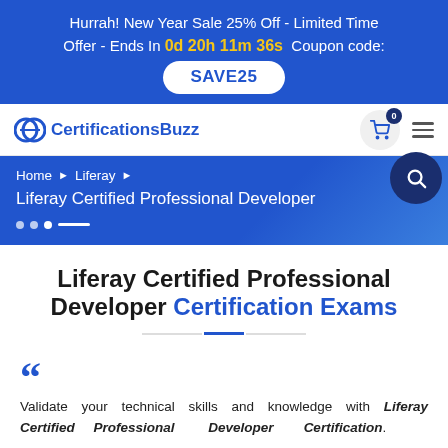Hurrah! New Year Sale 25% Off - Limited Time Offer - Ends In 0d 20h 11m 36s Coupon code: SAVE25
[Figure (logo): CertificationsBuzz logo with shopping cart icon and hamburger menu]
Home ► Liferay ► Liferay Certified Professional Developer
Liferay Certified Professional Developer Certification Exams
Validate your technical skills and knowledge with Liferay Certified Professional Developer Certification.